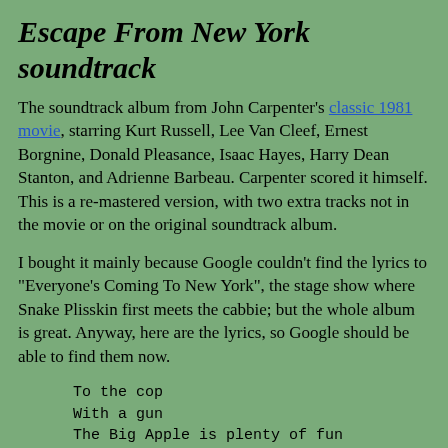Escape From New York soundtrack
The soundtrack album from John Carpenter's classic 1981 movie, starring Kurt Russell, Lee Van Cleef, Ernest Borgnine, Donald Pleasance, Isaac Hayes, Harry Dean Stanton, and Adrienne Barbeau. Carpenter scored it himself. This is a re-mastered version, with two extra tracks not in the movie or on the original soundtrack album.
I bought it mainly because Google couldn't find the lyrics to "Everyone's Coming To New York", the stage show where Snake Plisskin first meets the cabbie; but the whole album is great. Anyway, here are the lyrics, so Google should be able to find them now.
To the cop
With a gun
The Big Apple is plenty of fun

Stab a priest
With a fork
And you'll spend your vacation in New York

Rob a bank
Take a truck
You can get here by stealing a buck